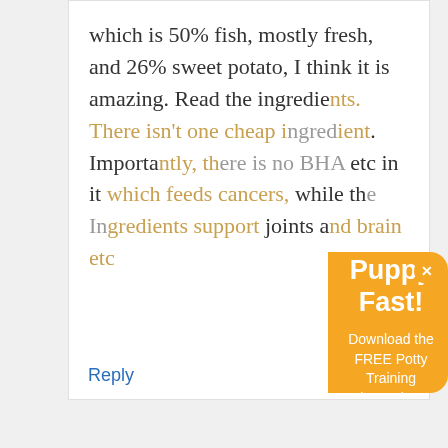which is 50% fish, mostly fresh, and 26% sweet potato, I think it is amazing. Read the ingredients. There isn't one cheap ingredient. Importantly, there is no BHA etc in it which feeds cancers, while there ingredients support joints and brain etc
Reply
[Figure (screenshot): Orange popup overlay with title 'Potty Train Your Puppy Fast!', subtitle 'Download the FREE Potty Training Cheat Sheet!', a dark Download Now button, and an X close button in the top-right corner.]